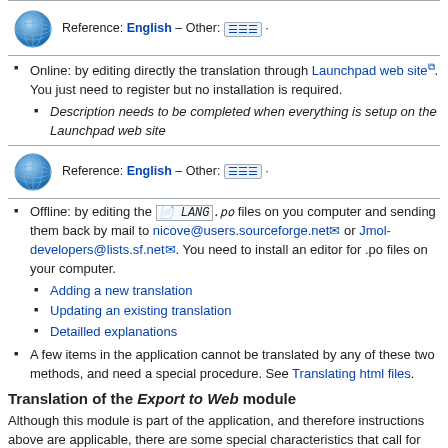[Figure (other): Globe icon for reference box 1]
Reference: English – Other: [flags] ·
Online: by editing directly the translation through Launchpad web site. You just need to register but no installation is required.
Description needs to be completed when everything is setup on the Launchpad web site
[Figure (other): Globe icon for reference box 2]
Reference: English – Other: [flags] ·
Offline: by editing the LANG.po files on you computer and sending them back by mail to nicove@users.sourceforge.net or Jmol-developers@lists.sf.net. You need to install an editor for .po files on your computer.
Adding a new translation
Updating an existing translation
Detailled explanations
A few items in the application cannot be translated by any of these two methods, and need a special procedure. See Translating html files.
Translation of the Export to Web module
Although this module is part of the application, and therefore instructions above are applicable, there are some special characteristics that call for some precautions and a partially different procedure.
See Translating the Export to Web module.